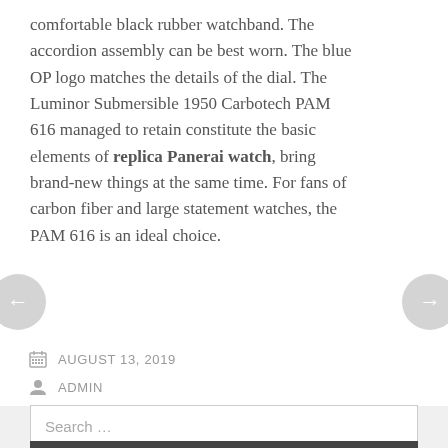comfortable black rubber watchband. The accordion assembly can be best worn. The blue OP logo matches the details of the dial. The Luminor Submersible 1950 Carbotech PAM 616 managed to retain constitute the basic elements of replica Panerai watch, bring brand-new things at the same time. For fans of carbon fiber and large statement watches, the PAM 616 is an ideal choice.
AUGUST 13, 2019
ADMIN